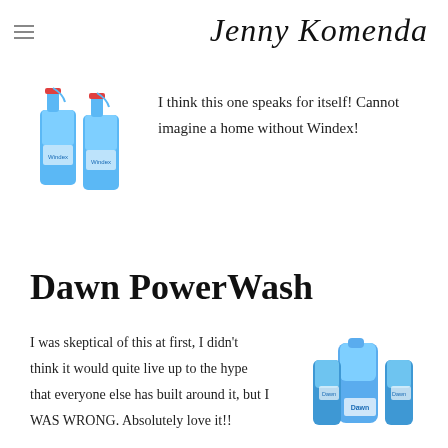Jenny Komenda
[Figure (photo): Two Windex spray bottles]
I think this one speaks for itself! Cannot imagine a home without Windex!
Dawn PowerWash
I was skeptical of this at first, I didn't think it would quite live up to the hype that everyone else has built around it, but I WAS WRONG. Absolutely love it!!
[Figure (photo): Dawn PowerWash bottles]